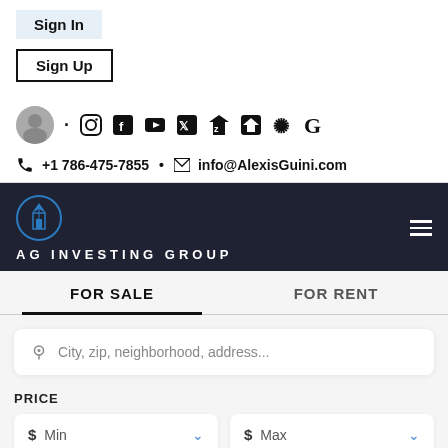Sign In
Sign Up
[Figure (infographic): Profile avatar circle with social media icons: Instagram, Facebook, YouTube, Twitter, Zillow, realtor, Yelp, Google]
+1 786-475-7855 • info@AlexisGuini.com
[Figure (logo): AG Investing Group dark navy navigation bar with building logo icon and hamburger menu]
AG INVESTING GROUP
FOR SALE
FOR RENT
City, zip, neighborhood, address...
PRICE
$ Min
$ Max